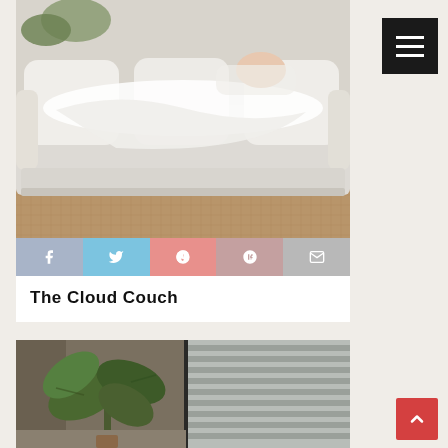[Figure (photo): White cloud couch/sofa with a person lying on it, covered with a white blanket. Natural fiber rug on the floor. Plant in background.]
Social sharing buttons: Facebook, Twitter, Pinterest, Google+, Email
The Cloud Couch
[Figure (photo): Large green tropical houseplant in foreground with window blinds and room interior visible in background.]